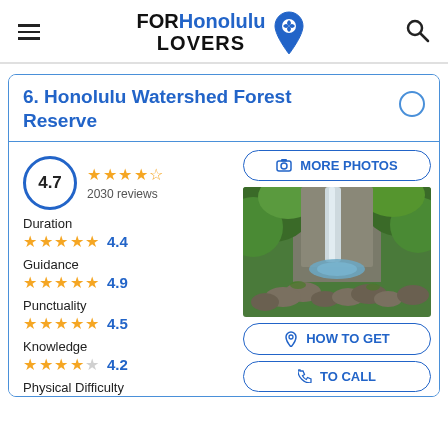[Figure (logo): FORHonolulu LOVERS logo with map pin icon, hamburger menu, and search icon in page header]
6. Honolulu Watershed Forest Reserve
4.7 — 2030 reviews — 4 full stars and 1 half star
Duration — 4.4 stars — 4.4
Guidance — 5 stars — 4.9
Punctuality — 4.5 stars — 4.5
Knowledge — 4 stars — 4.2
Physical Difficulty
[Figure (photo): Photo of a waterfall flowing down a rocky cliff into a pool surrounded by lush green tropical vegetation and rocks]
MORE PHOTOS
HOW TO GET
TO CALL